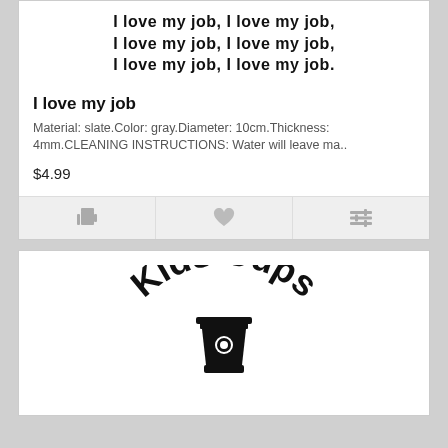[Figure (illustration): Product image showing text 'I love my job, I love my job, I love my job, I love my job, I love my job, I love my job.' in bold black stylized font on white background]
I love my job
Material: slate.Color: gray.Diameter: 10cm.Thickness: 4mm.CLEANING INSTRUCTIONS: Water will leave ma..
$4.99
[Figure (logo): Kids Cups logo with arched text 'Kids Cups' at top, a coffee cup icon in the middle, and curved text 'Go More' at the bottom, all in black on white background]